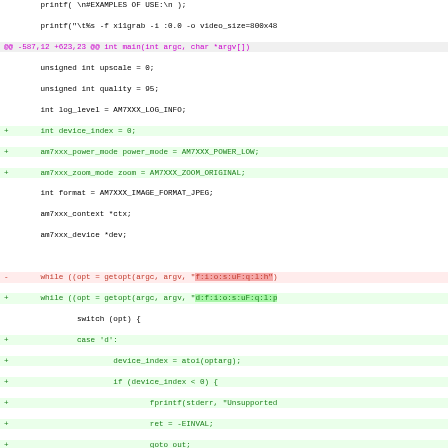[Figure (screenshot): Diff/patch view of C source code showing added lines (green), removed lines (red), and hunk headers (magenta) for a git diff of a file containing main() function changes related to am7xxx device index, power mode, zoom mode, and getopt argument string modifications.]